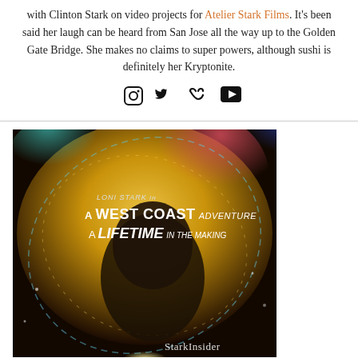with Clinton Stark on video projects for Atelier Stark Films. It's been said her laugh can be heard from San Jose all the way up to the Golden Gate Bridge. She makes no claims to super powers, although sushi is definitely her Kryptonite.
[Figure (other): Social media icons: Instagram, Twitter, Vimeo, YouTube]
[Figure (photo): Movie poster image showing a cosmic/galaxy themed background with a person's face. Text overlay reads: LONI STARK in A WEST COAST ADVENTURE A LIFETIME IN THE MAKING. StarkInsider watermark at bottom right.]